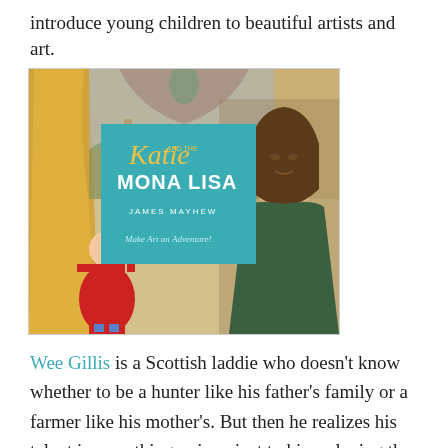introduce young children to beautiful artists and art.
[Figure (illustration): Book cover of 'Katie and the Mona Lisa' by James Mayhew. Features a young girl in a red coat looking up at the Mona Lisa painting against a Renaissance landscape background. A teal overlay box displays the title and author. Tagline reads 'Make Art an Adventure!']
Wee Gillis is a Scottish laddie who doesn't know whether to be a hunter like his father's family or a farmer like his mother's. But then he realizes his talent is something unique just to him: playing the